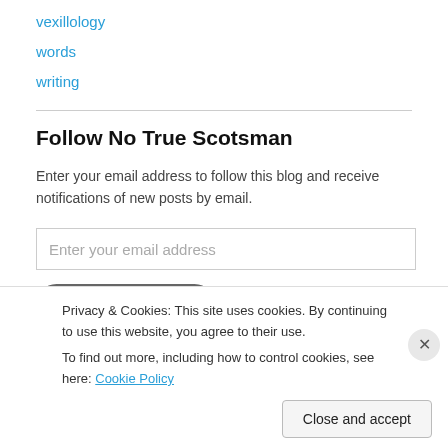vexillology
words
writing
Follow No True Scotsman
Enter your email address to follow this blog and receive notifications of new posts by email.
Enter your email address
Follow By Email
Privacy & Cookies: This site uses cookies. By continuing to use this website, you agree to their use.
To find out more, including how to control cookies, see here: Cookie Policy
Close and accept